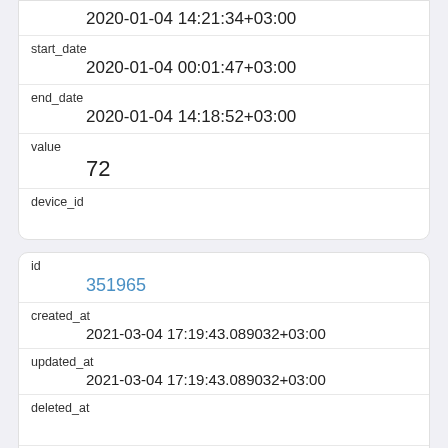|  | 2020-01-04 14:21:34+03:00 |
| start_date | 2020-01-04 00:01:47+03:00 |
| end_date | 2020-01-04 14:18:52+03:00 |
| value | 72 |
| device_id |  |
| id | 351965 |
| created_at | 2021-03-04 17:19:43.089032+03:00 |
| updated_at | 2021-03-04 17:19:43.089032+03:00 |
| deleted_at |  |
| type | HKQuantityTypeIdentifierWalkingHeartRateAverage |